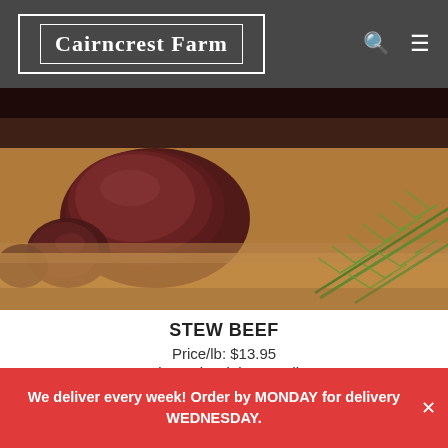[Figure (logo): Cairncrest Farm logo — white serif text in a double-bordered white rectangle on dark background]
[Figure (photo): Raw stew beef chunks with fresh rosemary sprigs on a wooden cutting board]
STEW BEEF
Price/lb: $13.95
Estimated weight: 1.00 lbs
Price: $13.95
We deliver every week! Order by MONDAY for delivery WEDNESDAY.